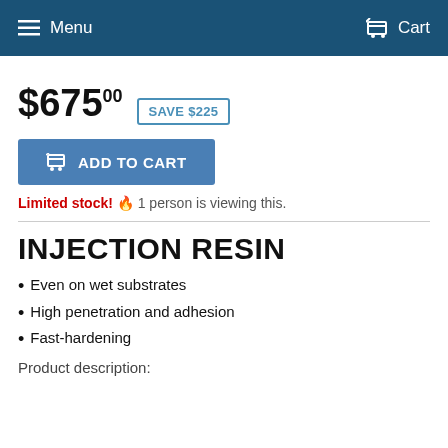Menu   Cart
$675.00  SAVE $225
ADD TO CART
Limited stock! 🔥 1 person is viewing this.
INJECTION RESIN
Even on wet substrates
High penetration and adhesion
Fast-hardening
Product description: